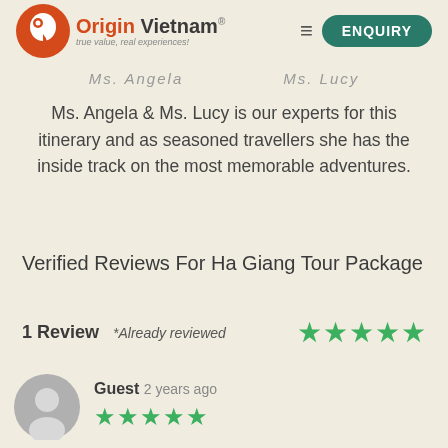[Figure (logo): Origin Vietnam logo with orange bird/circle icon and teal text, tagline 'true value, real experiences!']
[Figure (other): Navigation bar with hamburger menu and green ENQUIRY button]
Ms. Angela   Ms. Lucy (cropped, partially visible names)
Ms. Angela & Ms. Lucy is our experts for this itinerary and as seasoned travellers she has the inside track on the most memorable adventures.
Verified Reviews For Ha Giang Tour Package
1 Review  *Already reviewed  ★★★★★
Guest  2 years ago  ★★★★★